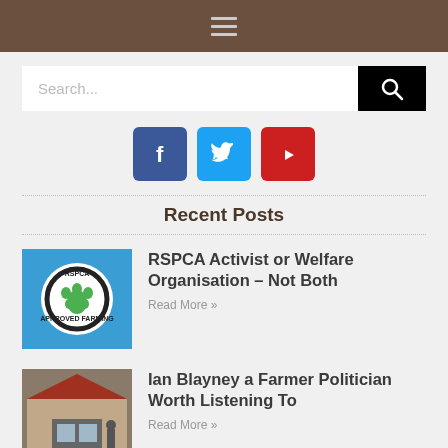≡ (hamburger menu icon)
[Figure (screenshot): Search bar with text input 'Search...' and black search button with magnifying glass icon]
[Figure (infographic): Social media icons: Facebook (blue), Twitter (light blue), YouTube (red)]
Recent Posts
[Figure (logo): RSPCA Approved Farming logo on blue background — circular badge with green paw print]
RSPCA Activist or Welfare Organisation – Not Both
Read More »
[Figure (photo): Photo of farm building exterior with red roof]
Ian Blayney a Farmer Politician Worth Listening To
Read More »